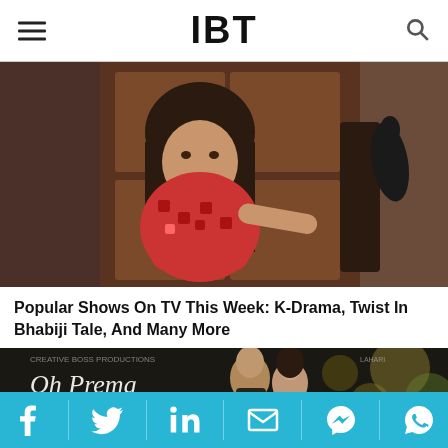IBT
[Figure (photo): A smiling woman wearing a red patterned scarf standing in front of a wooden door with a black decorative bird sculpture]
Popular Shows On TV This Week: K-Drama, Twist In Bhabiji Tale, And Many More
[Figure (photo): Promotional image for 'Oh Prema Song Tomorrow' showing a couple in a romantic pose with bokeh background]
Social share bar with Facebook, Twitter, LinkedIn, Email, Messenger, WhatsApp icons